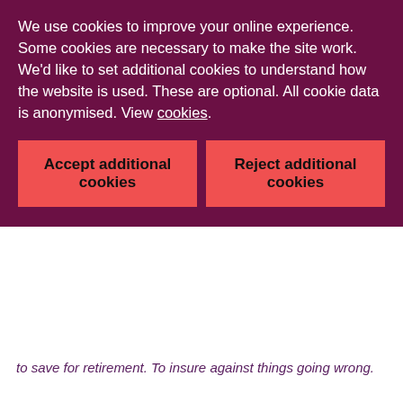We use cookies to improve your online experience. Some cookies are necessary to make the site work. We'd like to set additional cookies to understand how the website is used. These are optional. All cookie data is anonymised. View cookies.
Accept additional cookies
Reject additional cookies
to save for retirement. To insure against things going wrong.
It's being able to understand the products and services we buy, knowing that they will deliver consistently against that understanding.
For businesses, it's access to the capital that drives the real economy. And a wholesale market that functions well, providing for their needs, and those of other financial firms.
Ultimately, we want the financial system, and the firms and individuals within it, to be trustworthy.
We want the market to work well, to function as its customers expect. For both customers at home and for the UK as one of the world's